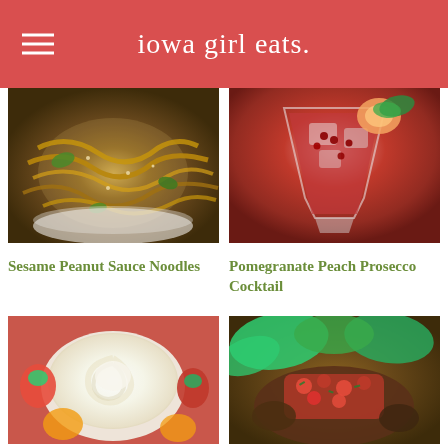iowa girl eats.
[Figure (photo): Bowl of sesame peanut sauce noodles with green vegetables and sesame seeds]
[Figure (photo): Pomegranate peach prosecco cocktail in a stemmed glass with ice, pomegranate seeds, and peach slices]
Sesame Peanut Sauce Noodles
Pomegranate Peach Prosecco Cocktail
[Figure (photo): White creamy dip or frosting in a bowl surrounded by strawberries and fruit]
[Figure (photo): Salad with tomato bruschetta topping on grilled meat over greens]